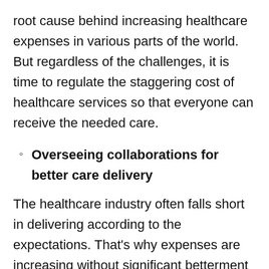root cause behind increasing healthcare expenses in various parts of the world. But regardless of the challenges, it is time to regulate the staggering cost of healthcare services so that everyone can receive the needed care.
Overseeing collaborations for better care delivery
The healthcare industry often falls short in delivering according to the expectations. That's why expenses are increasing without significant betterment in access or quality. The demand and supply gap continues even after billions of dollars of investment in development and innovation every year. However, the systematic shortcomings are not the only factors